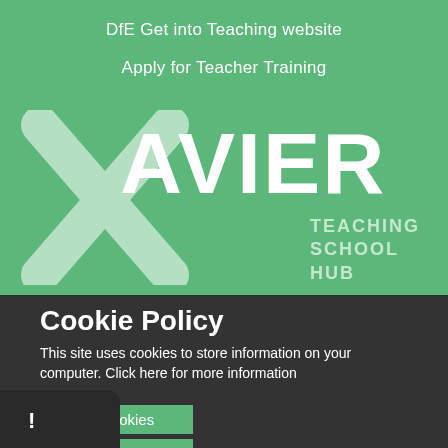DfE Get into Teaching website
Apply for Teacher Training
[Figure (logo): Xavier Teaching School Hub logo — large stylized X in light green with white XAVIER text and TEACHING SCHOOL HUB subtitle]
Cookie Policy
This site uses cookies to store information on your computer. Click here for more information
Allow Cookies
Deny Cookies